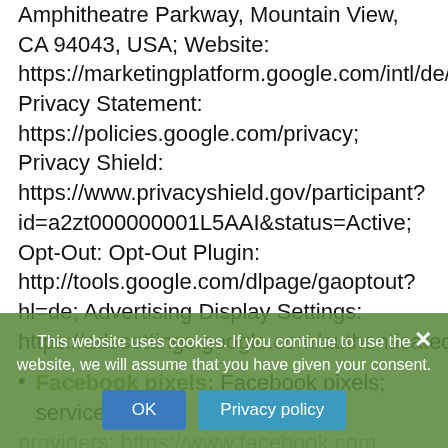Amphitheatre Parkway, Mountain View, CA 94043, USA; Website: https://marketingplatform.google.com/intl/de/about Privacy Statement: https://policies.google.com/privacy; Privacy Shield: https://www.privacyshield.gov/participant?id=a2zt000000001L5AAI&status=Active; Opt-Out: Opt-Out Plugin: http://tools.google.com/dlpage/gaoptout?hl=de; Advertising Display Settings: https://adssettings.google.com/authenticated.
Facebook pixels: Facebook pixels; service providers: https://www.facebook.com, Facebook Ireland Ltd, 4 Grand Canal Square, Grand Canal Harbour, Dublin 2, Ireland; parent company: Facebook, 1 Hacker Way, Menlo Park, CA 94025, USA; Website:
This website uses cookies. If you continue to use the website, we will assume that you have given your consent.